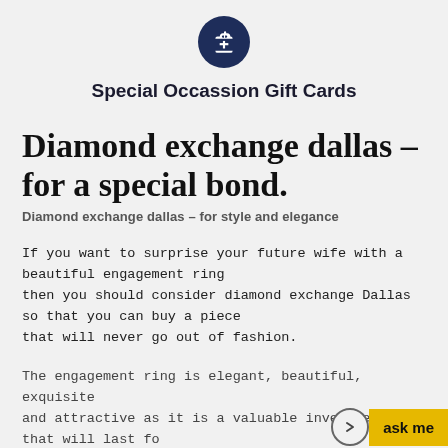[Figure (logo): Dark navy blue circle icon with a white gift box symbol inside]
Special Occassion Gift Cards
Diamond exchange dallas – for a special bond.
Diamond exchange dallas – for style and elegance
If you want to surprise your future wife with a beautiful engagement ring
then you should consider diamond exchange Dallas so that you can buy a piece
that will never go out of fashion.
The engagement ring is elegant, beautiful, exquisite
and attractive as it is a valuable investment that will last fo
generations without